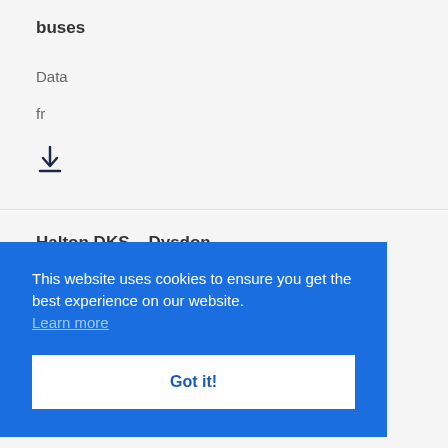buses
Data
fr
[Figure (other): Download icon — downward arrow above a horizontal underline]
Halton DKS – Dysdon
Data
This website uses cookies to ensure you get the best experience on our website. Learn more
Got it!
Data